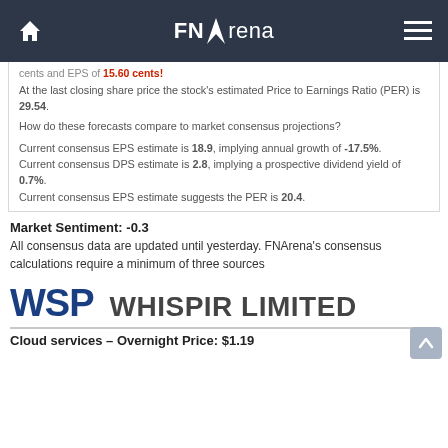FNArena
cents and EPS of 15.60 cents.
At the last closing share price the stock's estimated Price to Earnings Ratio (PER) is 29.54.
How do these forecasts compare to market consensus projections?
Current consensus EPS estimate is 18.9, implying annual growth of -17.5%. Current consensus DPS estimate is 2.8, implying a prospective dividend yield of 0.7%. Current consensus EPS estimate suggests the PER is 20.4.
Market Sentiment: -0.3
All consensus data are updated until yesterday. FNArena's consensus calculations require a minimum of three sources
WSP   WHISPIR LIMITED
Cloud services – Overnight Price: $1.19